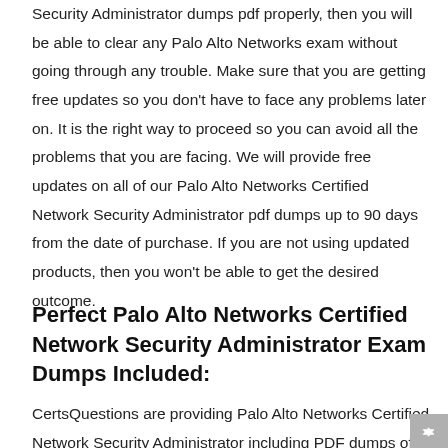Security Administrator dumps pdf properly, then you will be able to clear any Palo Alto Networks exam without going through any trouble. Make sure that you are getting free updates so you don't have to face any problems later on. It is the right way to proceed so you can avoid all the problems that you are facing. We will provide free updates on all of our Palo Alto Networks Certified Network Security Administrator pdf dumps up to 90 days from the date of purchase. If you are not using updated products, then you won't be able to get the desired outcome.
Perfect Palo Alto Networks Certified Network Security Administrator Exam Dumps Included:
CertsQuestions are providing Palo Alto Networks Certified Network Security Administrator including PDF dumps of